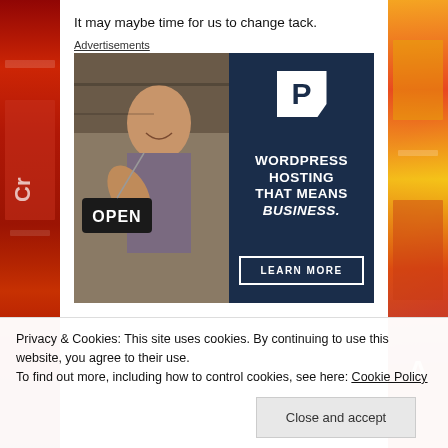It may maybe time for us to change tack.
Advertisements
[Figure (photo): Advertisement for WordPress hosting showing a smiling woman holding an OPEN sign, with a dark blue panel on the right displaying the Pressable 'P' logo, text 'WORDPRESS HOSTING THAT MEANS BUSINESS.' and a 'LEARN MORE' button.]
Privacy & Cookies: This site uses cookies. By continuing to use this website, you agree to their use.
To find out more, including how to control cookies, see here: Cookie Policy
Close and accept